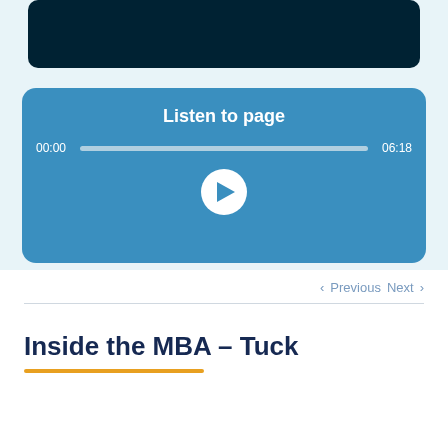[Figure (screenshot): Audio player widget with blue background showing 'Listen to page' title, a progress bar from 00:00 to 06:18, and a circular play button]
‹ Previous   Next ›
Inside the MBA – Tuck